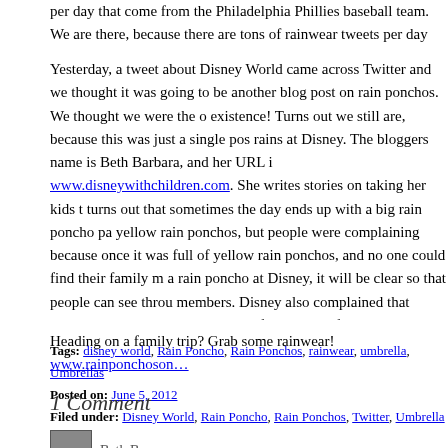per day that come from the Philadelphia Phillies baseball team. We are there, because there are tons of rainwear tweets per day about the Phillies.
Yesterday, a tweet about Disney World came across Twitter and we thought it was going to be another blog post on rain ponchos. We thought we were the only rain poncho blog in existence! Turns out we still are, because this was just a single post about rain when it rains at Disney. The bloggers name is Beth Barbara, and her URL is www.disneywithchildren.com. She writes stories on taking her kids to Disney, and it turns out that sometimes the day ends up with a big rain poncho party. Disney sells yellow rain ponchos, but people were complaining because once it rained at Disney, the park was full of yellow rain ponchos, and no one could find their family members. If you buy a rain poncho at Disney, it will be clear so that people can see through them to find family members. Disney also complained that people were using the yellow ponchos for other things from their gift shops. We are lucky to have many theme parks that care enough to cover their park guests when it rains, and stories like the one posted by Beth Barbara are always fun to come across.
Heading on a family trip? Grab some rainwear! www.rainponchosonline.com
Tags: disney world, Rain Poncho, Rain Ponchos, rainwear, umbrella, Umbrellas
Posted on: June 5, 2012
Filed under: Disney World, Rain Poncho, Rain Ponchos, Twitter, Umbrella
1 Comment
Beth Bar…